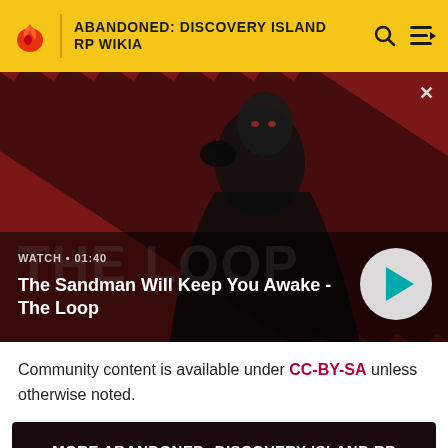ABANDONED: DISCOVERY ISLAND RP WIKIA
[Figure (screenshot): Video thumbnail showing a dark figure with a raven on their shoulder against a red diagonal striped background. Title: The Sandman Will Keep You Awake - The Loop. Watch time: 01:40. Play button visible.]
Community content is available under CC-BY-SA unless otherwise noted.
MORE ABANDONED: DISCOVERY ISLAND RP WIKIA